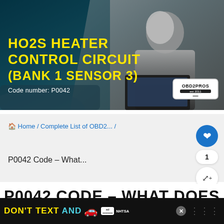[Figure (photo): Hero image of a mechanic working with a diagnostic laptop tool on a vehicle, with teal/dark blue color overlay. Shows OBD2PROS logo badge. Title text overlay reads 'HO2S HEATER CONTROL CIRCUIT (BANK 1 SENSOR 3)' in yellow, with 'Code number: P0042' in white.]
Home / Complete List of OBD2... /
P0042 Code – What...
P0042 CODE – WHAT DOES
[Figure (infographic): Ad banner at bottom: black background with yellow 'DON'T TEXT' and cyan 'AND' text, red car emoji, AdChoices badge, NHTSA logo, close button, and Wi-Fi dots icon.]